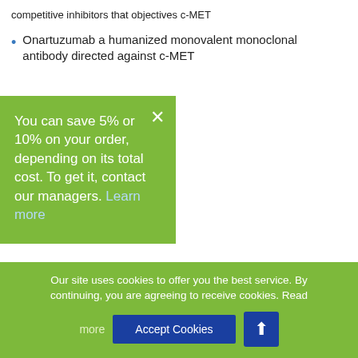competitive inhibitors that objectives c-MET
Onartuzumab a humanized monovalent monoclonal antibody directed against c-MET
You can save 5% or 10% on your order, depending on its total cost. To get it, contact our managers. Learn more
post >
Place an order for research paper!
Our site uses cookies to offer you the best service. By continuing, you are agreeing to receive cookies. more  Accept Cookies